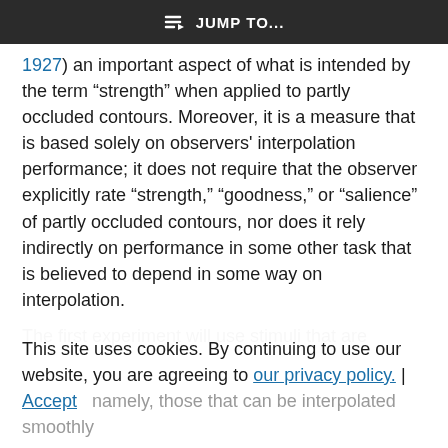JUMP TO...
1927) an important aspect of what is intended by the term “strength” when applied to partly occluded contours. Moreover, it is a measure that is based solely on observers' interpolation performance; it does not require that the observer explicitly rate “strength,” “goodness,” or “salience” of partly occluded contours, nor does it rely indirectly on performance in some other task that is believed to depend in some way on interpolation.
The first experiment will use stimuli that are
This site uses cookies. By continuing to use our website, you are agreeing to our privacy policy. | Accept
namely, those that can be interpolated smoothly